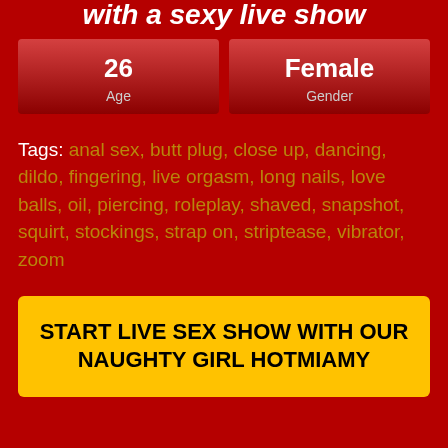with a sexy live show
| 26 Age | Female Gender |
| --- | --- |
Tags: anal sex, butt plug, close up, dancing, dildo, fingering, live orgasm, long nails, love balls, oil, piercing, roleplay, shaved, snapshot, squirt, stockings, strap on, striptease, vibrator, zoom
START LIVE SEX SHOW WITH OUR NAUGHTY GIRL HOTMIAMY